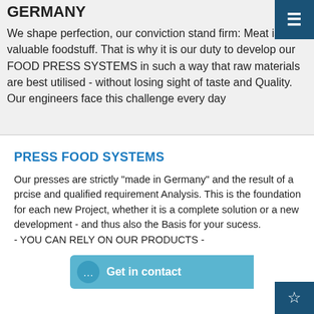GERMANY
We shape perfection, our conviction stand firm: Meat is a valuable foodstuff. That is why it is our duty to develop our FOOD PRESS SYSTEMS in such a way that raw materials are best utilised - without losing sight of taste and Quality. Our engineers face this challenge every day
PRESS FOOD SYSTEMS
Our presses are strictly "made in Germany" and the result of a prcise and qualified requirement Analysis. This is the foundation for each new Project, whether it is a complete solution or a new development - and thus also the Basis for your sucess.
- YOU CAN RELY ON OUR PRODUCTS -